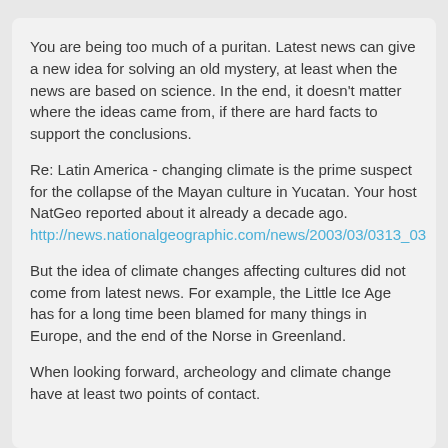You are being too much of a puritan. Latest news can give a new idea for solving an old mystery, at least when the news are based on science. In the end, it doesn't matter where the ideas came from, if there are hard facts to support the conclusions.
Re: Latin America - changing climate is the prime suspect for the collapse of the Mayan culture in Yucatan. Your host NatGeo reported about it already a decade ago. http://news.nationalgeographic.com/news/2003/03/0313_03
But the idea of climate changes affecting cultures did not come from latest news. For example, the Little Ice Age has for a long time been blamed for many things in Europe, and the end of the Norse in Greenland.
When looking forward, archeology and climate change have at least two points of contact.